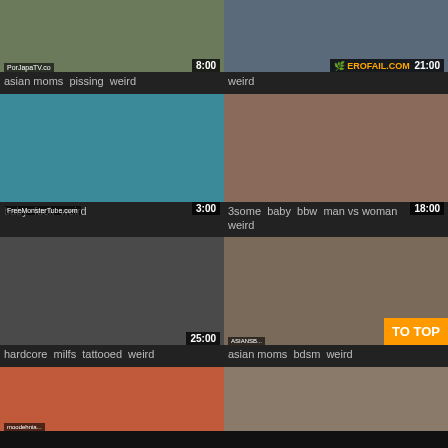[Figure (screenshot): Video thumbnail grid - top row partial: asian moms pissing weird (8:00), weird (21:00 EROFAIL)]
asian moms  pissing  weird
weird
[Figure (screenshot): Video thumbnail: animated mermaid (3:00) - baby fuck weird]
[Figure (screenshot): Video thumbnail: 3some baby bbw man vs woman weird (18:00)]
baby  fuck  weird
3some  baby  bbw  man vs woman  weird
[Figure (screenshot): Video thumbnail: hardcore milfs tattooed weird (25:00)]
[Figure (screenshot): Video thumbnail: asian moms bdsm weird (ASIANSBONDAGE watermark) with TO TOP button]
hardcore  milfs  tattooed  weird
asian moms  bdsm  weird
[Figure (screenshot): Video thumbnail: bottom left partial]
[Figure (screenshot): Video thumbnail: bottom right partial]